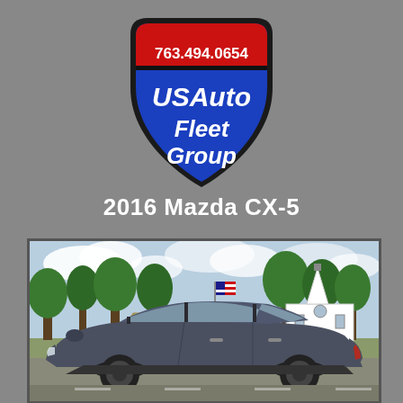[Figure (logo): US Auto Fleet Group shield logo with phone number 763.494.0654 in red banner at top, blue shield with white bold text USAuto Fleet Group, black outline border]
2016 Mazda CX-5
[Figure (photo): Side profile photo of a 2016 Mazda CX-5 in dark grey/graphite color, parked on a road. Background shows green trees, a white church building, an American flag on a pole, and a partly cloudy blue sky.]